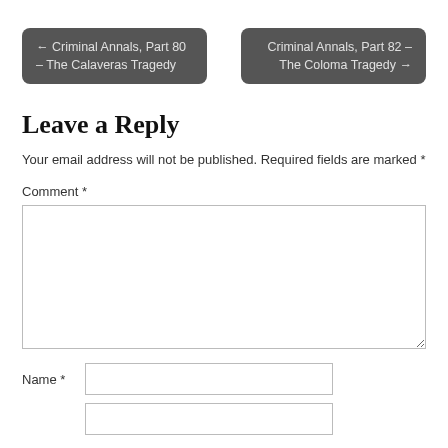← Criminal Annals, Part 80 – The Calaveras Tragedy
Criminal Annals, Part 82 – The Coloma Tragedy →
Leave a Reply
Your email address will not be published. Required fields are marked *
Comment *
Name *